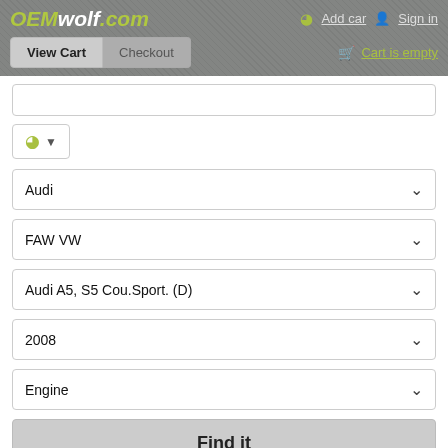OEMwolf.com  Add car  Sign in  View Cart  Checkout  Cart is empty
[Figure (screenshot): Search input field, partially visible at top]
[Figure (screenshot): Steering wheel icon dropdown button]
Audi (dropdown)
FAW VW (dropdown)
Audi A5, S5 Cou.Sport. (D) (dropdown)
2008 (dropdown)
Engine (dropdown)
Find it
Copyright © 2013-2022  https://oemwolf.com